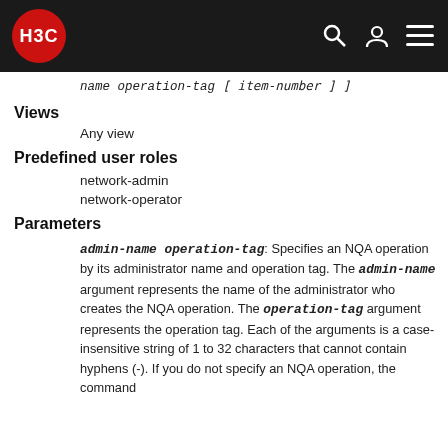H3C
name operation-tag [ item-number ] ]
Views
Any view
Predefined user roles
network-admin
network-operator
Parameters
admin-name operation-tag: Specifies an NQA operation by its administrator name and operation tag. The admin-name argument represents the name of the administrator who creates the NQA operation. The operation-tag argument represents the operation tag. Each of the arguments is a case-insensitive string of 1 to 32 characters that cannot contain hyphens (-). If you do not specify an NQA operation, the command